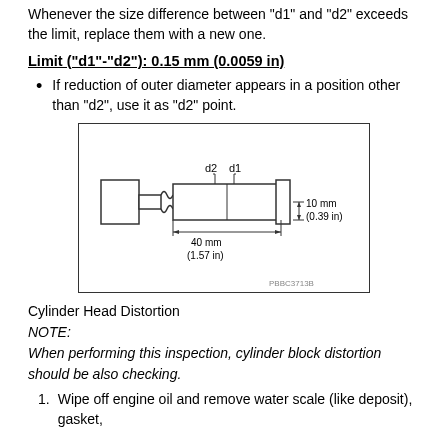Cylinder head bolts are tightened by plastic zone tightening method. Whenever the size difference between "d1" and "d2" exceeds the limit, replace them with a new one.
Limit ("d1"-"d2"): 0.15 mm (0.0059 in)
If reduction of outer diameter appears in a position other than "d2", use it as "d2" point.
[Figure (engineering-diagram): Technical diagram of a cylinder head bolt showing cross-section with labels d1 and d2 indicating measurement positions. Dimension lines show 10 mm (0.39 in) and 40 mm (1.57 in) measurements. Reference code PBBC3713B shown at bottom right.]
Cylinder Head Distortion
NOTE:
When performing this inspection, cylinder block distortion should be also checking.
Wipe off engine oil and remove water scale (like deposit), gasket,